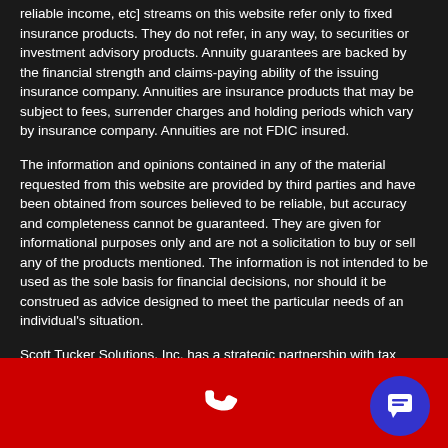reliable income, etc] streams on this website refer only to fixed insurance products. They do not refer, in any way, to securities or investment advisory products. Annuity guarantees are backed by the financial strength and claims-paying ability of the issuing insurance company. Annuities are insurance products that may be subject to fees, surrender charges and holding periods which vary by insurance company. Annuities are not FDIC insured.
The information and opinions contained in any of the material requested from this website are provided by third parties and have been obtained from sources believed to be reliable, but accuracy and completeness cannot be guaranteed. They are given for informational purposes only and are not a solicitation to buy or sell any of the products mentioned. The information is not intended to be used as the sole basis for financial decisions, nor should it be construed as advice designed to meet the particular needs of an individual's situation.
Scott Tucker Solutions, Inc. has a strategic partnership with tax